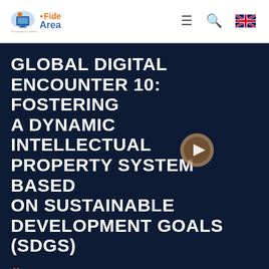[Figure (logo): FideArea logo with cloud icon, orange dot, and text]
GLOBAL DIGITAL ENCOUNTER 10: FOSTERING A DYNAMIC INTELLECTUAL PROPERTY SYSTEM BASED ON SUSTAINABLE DEVELOPMENT GOALS (SDGS)
GLOBAL DIGITAL ENCOUNTERS
MARTES 02 DE MARZO, 2021
17:00 - 18:00